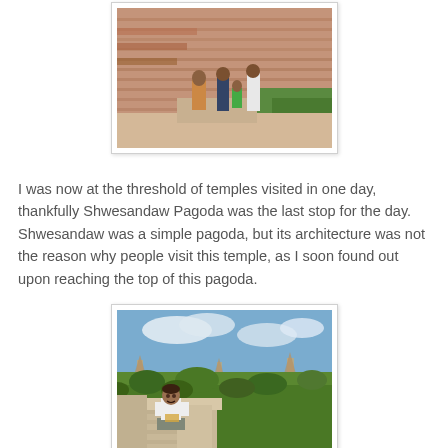[Figure (photo): Photo of people standing near ancient brick temple steps in Bagan, Myanmar. Several visitors in traditional and casual clothing stand around a stone structure, with lush green vegetation in the background.]
I was now at the threshold of temples visited in one day, thankfully Shwesandaw Pagoda was the last stop for the day. Shwesandaw was a simple pagoda, but its architecture was not the reason why people visit this temple, as I soon found out upon reaching the top of this pagoda.
[Figure (photo): Photo of a man in a white t-shirt and grey pants sitting on ancient stone ruins at the top of Shwesandaw Pagoda, with a panoramic view of the Bagan plain — temples, pagodas, and green trees stretching to the horizon under a partly cloudy sky.]